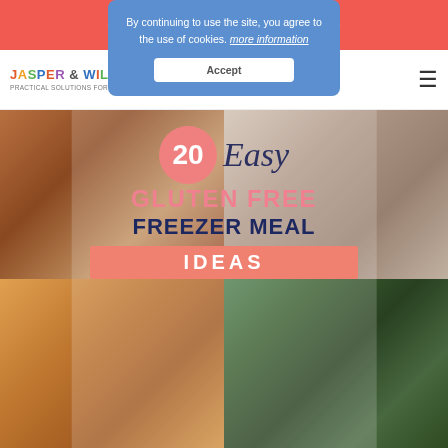FREE 5-DAY MOM BOSS BOOTCAMP
[Figure (logo): Jasper & Willow logo with tagline 'PRACTICAL SOLUTIONS FOR BUSY MOMS']
By continuing to use the site, you agree to the use of cookies. more information
Accept
[Figure (infographic): 20 Easy Gluten Free Freezer Meal Ideas - collage of food photos with text overlay including a pink circle with '20', script text 'Easy', pink text 'GLUTEN FREE', dark blue text 'FREEZER MEAL', and salmon banner with 'IDEAS']